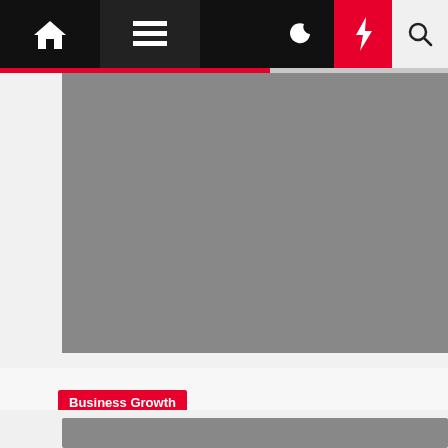Navigation bar with home, menu, moon, bolt, and search icons
[Figure (photo): Gray image placeholder at top of page]
Business Growth
Weather: IMD upgrades outlook to severe cyclone in Bay
Elvera Bartels  2 years ago
[Figure (photo): Gray image placeholder at bottom of page]